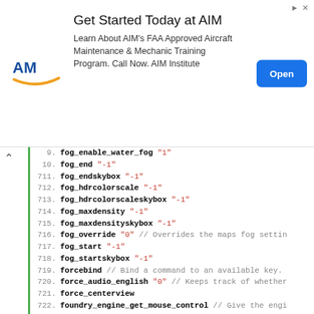[Figure (other): Advertisement banner for AIM Institute. Title: 'Get Started Today at AIM'. Body: 'Learn About AIM's FAA Approved Aircraft Maintenance & Mechanic Training Program. Call Now. AIM Institute'. Button: 'Open'.]
fog_enable_water_fog "1"
fog_end "-1"
fog_endskybox "-1"
fog_hdrcolorscale "-1"
fog_hdrcolorscaleskybox "-1"
fog_maxdensity "-1"
fog_maxdensityskybox "-1"
fog_override "0" // Overrides the maps fog settin
fog_start "-1"
fog_startskybox "-1"
forcebind // Bind a command to an available key.
force_audio_english "0" // Keeps track of whether
force_centerview
foundry_engine_get_mouse_control // Give the engi
foundry_engine_release_mouse_control // Give the
foundry_select_entity // Select the entity under
specified name.
foundry_sync_hammer_view // Move Hammers 3D view
foundry_update_entity // Updates the entitys posi
fov_cs_debug "0" // Sets the view fov if cheats a
fps_max "300" // Frame rate limiter
fps_max_menu "120" // main menu
fps_screenshot_frequency "10" // While the fps is
shot this often in seconds (i.e. 10 = screen shot
fps_screenshot_threshold "-1" // Dump a screensho